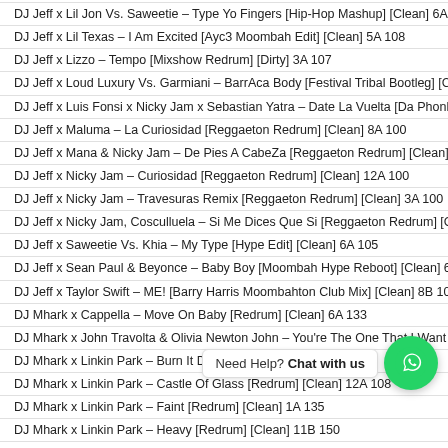DJ Jeff x Lil Jon Vs. Saweetie – Type Yo Fingers [Hip-Hop Mashup] [Clean] 6A 105
DJ Jeff x Lil Texas – I Am Excited [Ayc3 Moombah Edit] [Clean] 5A 108
DJ Jeff x Lizzo – Tempo [Mixshow Redrum] [Dirty] 3A 107
DJ Jeff x Loud Luxury Vs. Garmiani – BarrAca Body [Festival Tribal Bootleg] [Clean]
DJ Jeff x Luis Fonsi x Nicky Jam x Sebastian Yatra – Date La Vuelta [Da Phonk Ed…
DJ Jeff x Maluma – La Curiosidad [Reggaeton Redrum] [Clean] 8A 100
DJ Jeff x Mana & Nicky Jam – De Pies A CabeZa [Reggaeton Redrum] [Clean] 1A…
DJ Jeff x Nicky Jam – Curiosidad [Reggaeton Redrum] [Clean] 12A 100
DJ Jeff x Nicky Jam – Travesuras Remix [Reggaeton Redrum] [Clean] 3A 100
DJ Jeff x Nicky Jam, Cosculluela – Si Me Dices Que Si [Reggaeton Redrum] [Clea…
DJ Jeff x Saweetie Vs. Khia – My Type [Hype Edit] [Clean] 6A 105
DJ Jeff x Sean Paul & Beyonce – Baby Boy [Moombah Hype Reboot] [Clean] 6A 1…
DJ Jeff x Taylor Swift – ME! [Barry Harris Moombahton Club Mix] [Clean] 8B 105
DJ Mhark x Cappella – Move On Baby [Redrum] [Clean] 6A 133
DJ Mhark x John Travolta & Olivia Newton John – You're The One That I Want [Re…
DJ Mhark x Linkin Park – Burn It Down [Redrum] [Dirty] 8A 110
DJ Mhark x Linkin Park – Castle Of Glass [Redrum] [Clean] 12A 108
DJ Mhark x Linkin Park – Faint [Redrum] [Clean] 1A 135
DJ Mhark x Linkin Park – Heavy [Redrum] [Clean] 11B 150
DJ Mhark x Linkin Park – Numb [Quick Kutz] [Dirty] 11A 110
DJ Mhark x Linkin Park – One Step Closer [Redrum] [Clean] 1A 95…
DJ Mhark x Linkin Park – Some… [Redrum] […]
DJ Mhark x Lionel Richie – All Night Long [All Night] [Redrum] [Clean] …09
DJ Mhark x Lipps, Inc. – Designer Music [Quick Kutz] [Clean] 7A 152
DJ Mhark x Lipps, Inc. – How Long [Redrum] [Clean] 8A 121